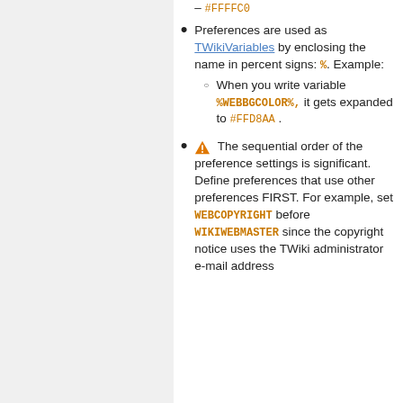– #FFFFC0
Preferences are used as TWikiVariables by enclosing the name in percent signs: %. Example: When you write variable %WEBBGCOLOR%, it gets expanded to #FFD8AA .
⚠ The sequential order of the preference settings is significant. Define preferences that use other preferences FIRST. For example, set WEBCOPYRIGHT before WIKIWEBMASTER since the copyright notice uses the TWiki administrator e-mail address